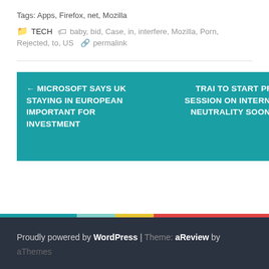Tags: Apps, Firefox, net, Mozilla
TECH  baby, bid, Case, in, interfere, Mozilla, Porn, Rejected, to, US  permalink
← MICROSOFT SAYS UK STAYING IN EUROPEAN IMPORTANT FOR INVESTMENT
TRAI TO START PRE-SESSION ON INTERNET NEUTRALITY SOON →
Proudly powered by WordPress | Theme: aReview by aThemes